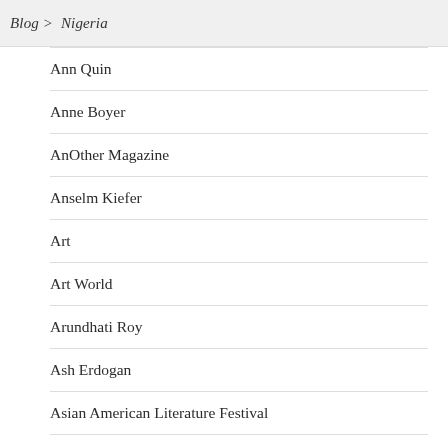Blog > Nigeria
Ann Quin
Anne Boyer
AnOther Magazine
Anselm Kiefer
Art
Art World
Arundhati Roy
Ash Erdogan
Asian American Literature Festival
Asymptote
Audio